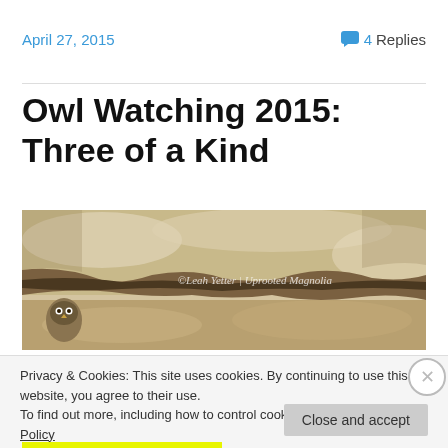April 27, 2015
💬 4 Replies
Owl Watching 2015: Three of a Kind
[Figure (photo): Close-up photograph of rocky cliff face with an owl partially visible in a crevice at lower left. Watermark reads: ©Leah Yetter | Uprooted Magnolia]
Privacy & Cookies: This site uses cookies. By continuing to use this website, you agree to their use.
To find out more, including how to control cookies, see here: Cookie Policy
Close and accept